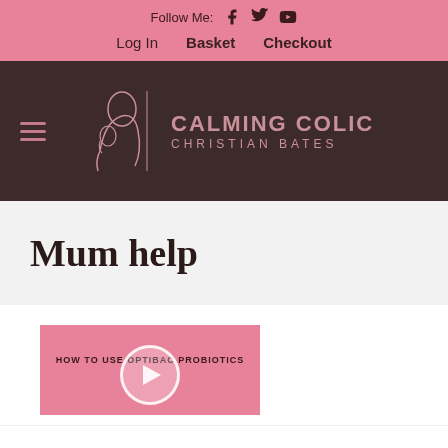Follow Me:  f  [twitter]  [youtube]
Log In  Basket  Checkout
[Figure (logo): Calming Colic logo with mother and baby illustration and text CALMING COLIC CHRISTIAN BATES]
Mum help
[Figure (screenshot): Video thumbnail showing HOW TO USE OPTIBAC PROBIOTICS with a play button on pink background]
This website uses cookies to improve your experience. We'll assume you're ok with this, but you can opt-out if you wish.
Accept  Read More